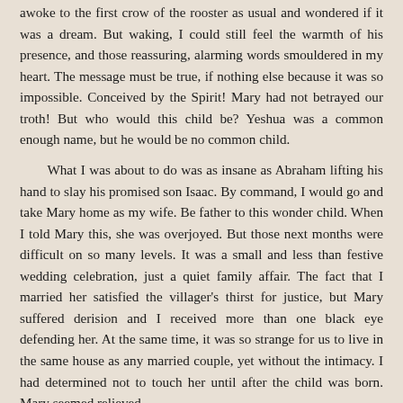awoke to the first crow of the rooster as usual and wondered if it was a dream. But waking, I could still feel the warmth of his presence, and those reassuring, alarming words smouldered in my heart. The message must be true, if nothing else because it was so impossible. Conceived by the Spirit! Mary had not betrayed our troth! But who would this child be? Yeshua was a common enough name, but he would be no common child.

What I was about to do was as insane as Abraham lifting his hand to slay his promised son Isaac. By command, I would go and take Mary home as my wife. Be father to this wonder child. When I told Mary this, she was overjoyed. But those next months were difficult on so many levels. It was a small and less than festive wedding celebration, just a quiet family affair. The fact that I married her satisfied the villager's thirst for justice, but Mary suffered derision and I received more than one black eye defending her. At the same time, it was so strange for us to live in the same house as any married couple, yet without the intimacy. I had determined not to touch her until after the child was born. Mary seemed relieved.